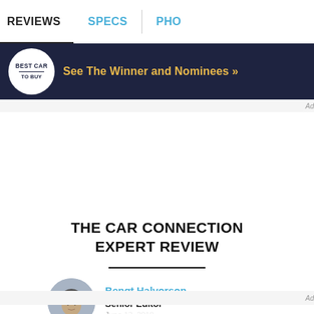REVIEWS | SPECS | PHO...
[Figure (infographic): Best Car To Buy badge/logo banner ad with dark navy background. Logo is a circular white badge with 'BEST CAR TO BUY' text. Banner text reads 'See The Winner and Nominees »' in gold/yellow color.]
Ad
THE CAR CONNECTION EXPERT REVIEW
[Figure (photo): Circular headshot photo of Bengt Halvorson, a man in a suit and tie.]
Bengt Halvorson
Senior Editor
Ad